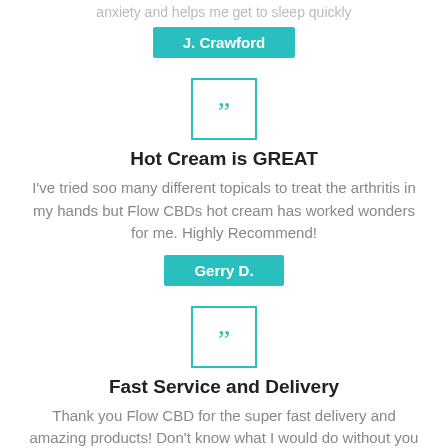anxiety and helps me get to sleep quickly
J. Crawford
[Figure (illustration): Teal square border with double closing quotation mark inside]
Hot Cream is GREAT
I've tried soo many different topicals to treat the arthritis in my hands but Flow CBDs hot cream has worked wonders for me. Highly Recommend!
Gerry D.
[Figure (illustration): Teal square border with double closing quotation mark inside]
Fast Service and Delivery
Thank you Flow CBD for the super fast delivery and amazing products! Don't know what I would do without you guys
Caroline B.